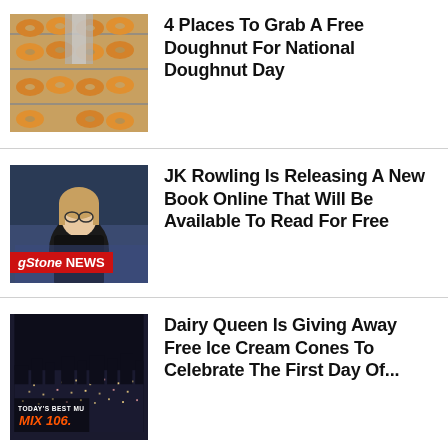[Figure (photo): Photo of glazed donuts on a conveyor/rack, top-down view]
4 Places To Grab A Free Doughnut For National Doughnut Day
[Figure (photo): Photo of JK Rowling seated, with Rolling Stone News banner overlay]
JK Rowling Is Releasing A New Book Online That Will Be Available To Read For Free
[Figure (photo): Aerial city photo at night with Mix 106.5 radio station logo overlay]
Dairy Queen Is Giving Away Free Ice Cream Cones To Celebrate The First Day Of...